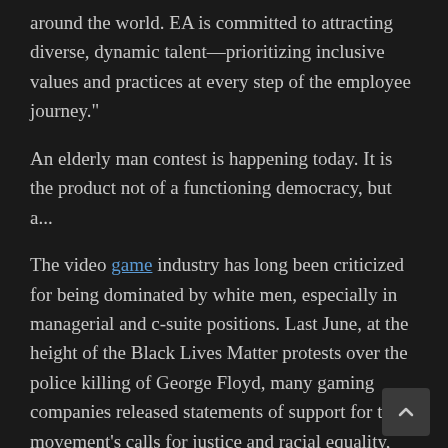around the world. EA is committed to attracting diverse, dynamic talent—prioritizing inclusive values and practices at every step of the employee journey."
An elderly man contest is happening today. It is the product not of a functioning democracy, but a...
The video game industry has long been criticized for being dominated by white men, especially in managerial and c-suite positions. Last June, at the height of the Black Lives Matter protests over the police killing of George Floyd, many gaming companies released statements of support for the movement's calls for justice and racial equality, but few backed up these rallying cries with specific commitments to addressing issues within their own walls.
"Today, and always, we support all those who stand against racism and inequality," Activision Blizzard tweeted at the time. "There is no place for it in our society—or any society. Black lives matter."
However, the company declined to comment when asked